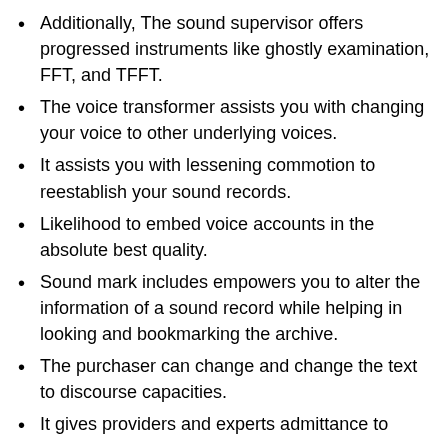Additionally, The sound supervisor offers progressed instruments like ghostly examination, FFT, and TFFT.
The voice transformer assists you with changing your voice to other underlying voices.
It assists you with lessening commotion to reestablish your sound records.
Likelihood to embed voice accounts in the absolute best quality.
Sound mark includes empowers you to alter the information of a sound record while helping in looking and bookmarking the archive.
The purchaser can change and change the text to discourse capacities.
It gives providers and experts admittance to